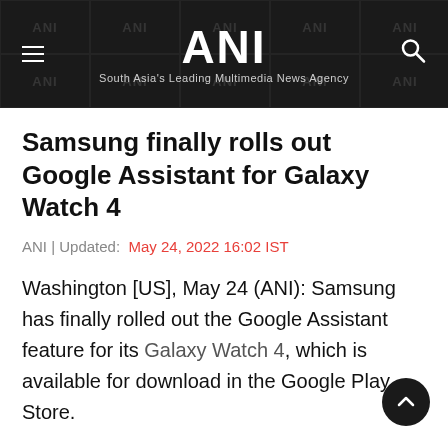ANI | South Asia's Leading Multimedia News Agency
Samsung finally rolls out Google Assistant for Galaxy Watch 4
ANI | Updated: May 24, 2022 16:02 IST
Washington [US], May 24 (ANI): Samsung has finally rolled out the Google Assistant feature for its Galaxy Watch 4, which is available for download in the Google Play Store.
Google Assistant for Wear OS 3 is available for download in the Google Play Store and can be launched from